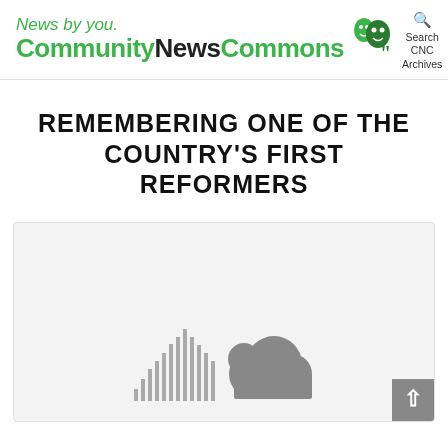News by you. CommunityNewsCommons — Search CNC Archives
REMEMBERING ONE OF THE COUNTRY'S FIRST REFORMERS
[Figure (other): SoundCloud audio player embed with waveform bars and cloud logo icon on light gray background]